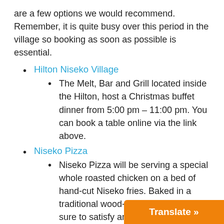are a few options we would recommend. Remember, it is quite busy over this period in the village so booking as soon as possible is essential.
Hilton Niseko Village
The Melt, Bar and Grill located inside the Hilton, host a Christmas buffet dinner from 5:00 pm – 11:00 pm. You can book a table online via the link above.
Niseko Pizza
Niseko Pizza will be serving a special whole roasted chicken on a bed of hand-cut Niseko fries. Baked in a traditional wood-fired oven, this is sure to satisfy any holiday hunger!
Niseko Taproom
Niseko Taproom will also have their famous rotisserie chickens spinning on